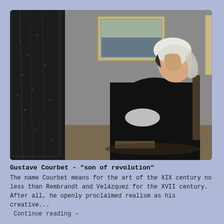[Figure (illustration): Whistler's Mother painting - elderly woman in black dress and white headscarf seated in profile against gray wall, with dark curtain on left and framed picture on wall behind her]
Gustave Courbet - "son of revolution"
The name Courbet means for the art of the XIX century no less than Rembrandt and Velázquez for the XVII century. After all, he openly proclaimed realism as his creative...
 Continue reading →